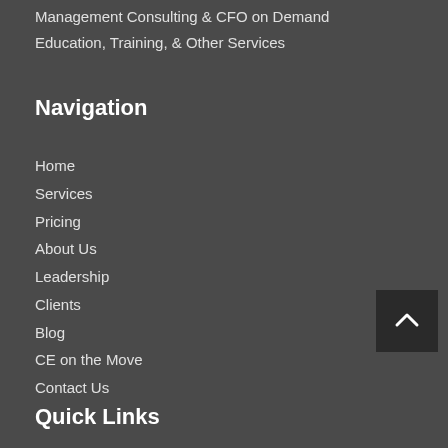Management Consulting & CFO on Demand
Education, Training, & Other Services
Navigation
Home
Services
Pricing
About Us
Leadership
Clients
Blog
CE on the Move
Contact Us
Quick Links